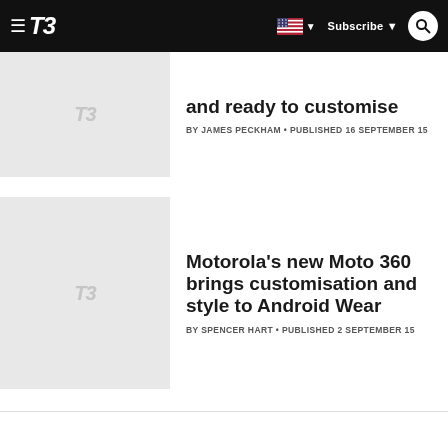T3 | Subscribe
and ready to customise
BY JAMES PECKHAM • PUBLISHED 16 SEPTEMBER 15
Motorola's new Moto 360 brings customisation and style to Android Wear
BY SPENCER HART • PUBLISHED 2 SEPTEMBER 15